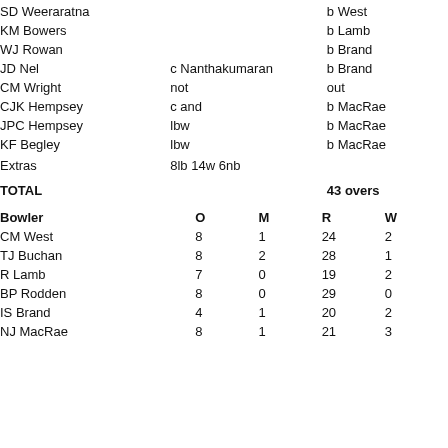| Player | Method | Dismissal |
| --- | --- | --- |
| SD Weeraratna |  | b West |
| KM Bowers |  | b Lamb |
| WJ Rowan |  | b Brand |
| JD Nel | c Nanthakumaran | b Brand |
| CM Wright | not | out |
| CJK Hempsey | c and | b MacRae |
| JPC Hempsey | lbw | b MacRae |
| KF Begley | lbw | b MacRae |
| Extras | 8lb 14w 6nb |  |
| TOTAL |  | 43 overs |
| Bowler | O | M | R | W |
| --- | --- | --- | --- | --- |
| CM West | 8 | 1 | 24 | 2 |
| TJ Buchan | 8 | 2 | 28 | 1 |
| R Lamb | 7 | 0 | 19 | 2 |
| BP Rodden | 8 | 0 | 29 | 0 |
| IS Brand | 4 | 1 | 20 | 2 |
| NJ MacRae | 8 | 1 | 21 | 3 |